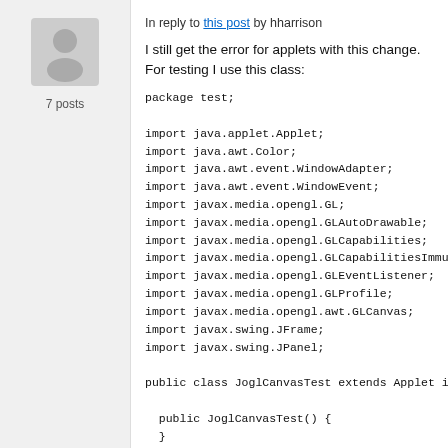[Figure (illustration): Gray avatar/silhouette icon of a person]
7 posts
In reply to this post by hharrison
I still get the error for applets with this change.  For testing I use this class:
package test;

import java.applet.Applet;
import java.awt.Color;
import java.awt.event.WindowAdapter;
import java.awt.event.WindowEvent;
import javax.media.opengl.GL;
import javax.media.opengl.GLAutoDrawable;
import javax.media.opengl.GLCapabilities;
import javax.media.opengl.GLCapabilitiesImmutable;
import javax.media.opengl.GLEventListener;
import javax.media.opengl.GLProfile;
import javax.media.opengl.awt.GLCanvas;
import javax.swing.JFrame;
import javax.swing.JPanel;

public class JoglCanvasTest extends Applet implements

    public JoglCanvasTest() {
    }

    public static JFrame frame;
    public static JPanel appletHolder;
    public static boolean isApplet = true;

    static public void main(String args[]) {
      Applet myApplet = null;
      isApplet = false;

      myApplet = new JoglCanvasTest();